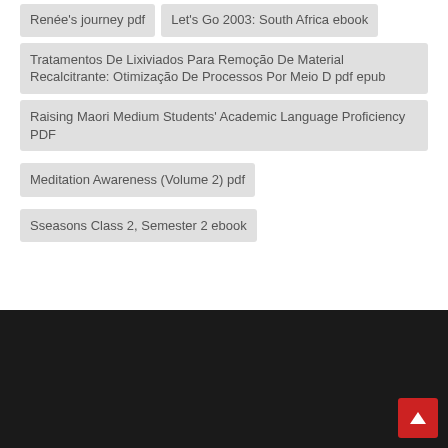Renée's Journey pdf
Let's Go 2003: South Africa ebook
Tratamentos De Lixiviados Para Remoção De Material Recalcitrante: Otimização De Processos Por Meio D pdf epub
Raising Maori Medium Students' Academic Language Proficiency PDF
Meditation Awareness (Volume 2) pdf
Sseasons Class 2, Semester 2 ebook